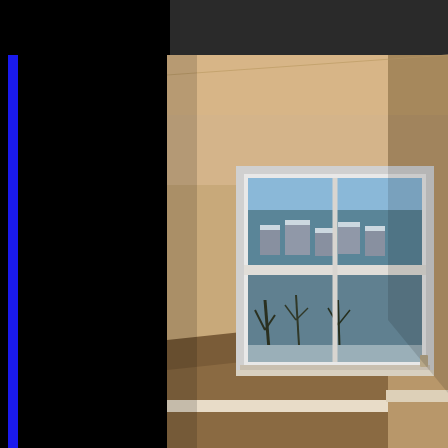[Figure (photo): Interior room photo showing an empty room with beige/tan walls and hardwood floor. A large white-framed double-hung window is centered on the far wall, showing a winter outdoor scene with bare trees, snow-covered rooftops, and an overcast sky. The left ~37% of the image is obscured by a black area with a thin vertical blue stripe near the left edge. A black horizontal band runs across the top portion of the image.]